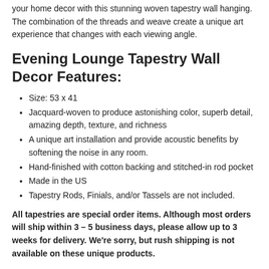your home decor with this stunning woven tapestry wall hanging. The combination of the threads and weave create a unique art experience that changes with each viewing angle.
Evening Lounge Tapestry Wall Decor Features:
Size: 53 x 41
Jacquard-woven to produce astonishing color, superb detail, amazing depth, texture, and richness
A unique art installation and provide acoustic benefits by softening the noise in any room.
Hand-finished with cotton backing and stitched-in rod pocket
Made in the US
Tapestry Rods, Finials, and/or Tassels are not included.
All tapestries are special order items. Although most orders will ship within 3 – 5 business days, please allow up to 3 weeks for delivery. We're sorry, but rush shipping is not available on these unique products.